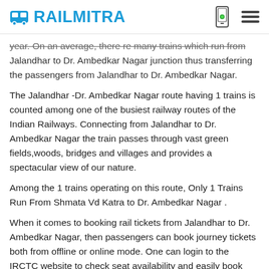RAILMITRA
year. On an average, there re many trains which run from Jalandhar to Dr. Ambedkar Nagar junction thus transferring the passengers from Jalandhar to Dr. Ambedkar Nagar.
The Jalandhar -Dr. Ambedkar Nagar route having 1 trains is counted among one of the busiest railway routes of the Indian Railways. Connecting from Jalandhar to Dr. Ambedkar Nagar the train passes through vast green fields,woods, bridges and villages and provides a spectacular view of our nature.
Among the 1 trains operating on this route, Only 1 Trains Run From Shmata Vd Katra to Dr. Ambedkar Nagar .
When it comes to booking rail tickets from Jalandhar to Dr. Ambedkar Nagar, then passengers can book journey tickets both from offline or online mode. One can login to the IRCTC website to check seat availability and easily book tickets online. Also, IRCTC and its authorised catering partner,RailMitra provide e-catering service in 450+ stations where passengers can enjoy restaurant-style hot and hygienic food in train.